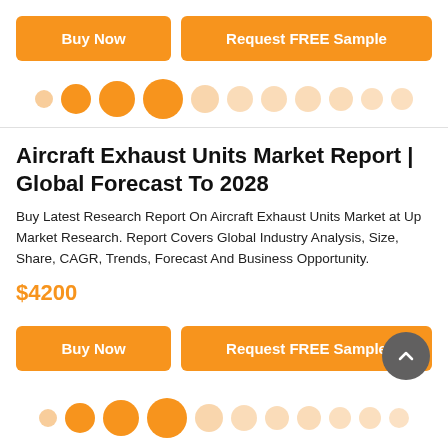[Figure (infographic): Top button row with orange Buy Now and Request FREE Sample buttons]
[Figure (infographic): Row of circles varying in size and opacity representing a slider/carousel navigation, with larger orange circles in positions 2-4 and smaller faded circles elsewhere]
Aircraft Exhaust Units Market Report | Global Forecast To 2028
Buy Latest Research Report On Aircraft Exhaust Units Market at Up Market Research. Report Covers Global Industry Analysis, Size, Share, CAGR, Trends, Forecast And Business Opportunity.
$4200
[Figure (infographic): Bottom button row with orange Buy Now and Request FREE Sample buttons]
[Figure (infographic): Scroll-to-top button, dark grey circle with upward chevron]
[Figure (infographic): Bottom row of circles varying in size and opacity representing a slider/carousel navigation]